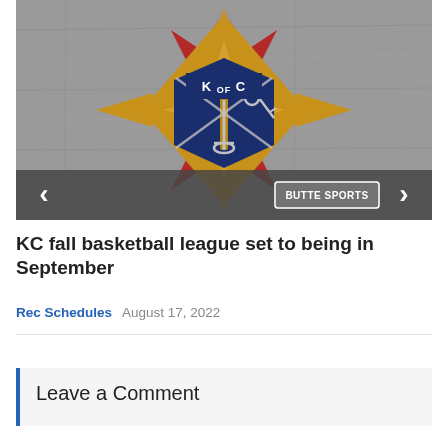[Figure (logo): Knights of Columbus (K of C) emblem logo on grey stone background, with gold star/cross shape, navy blue shield, and red accents. Butte Sports watermark badge in lower right.]
KC fall basketball league set to being in September
Rec Schedules   August 17, 2022
Leave a Comment